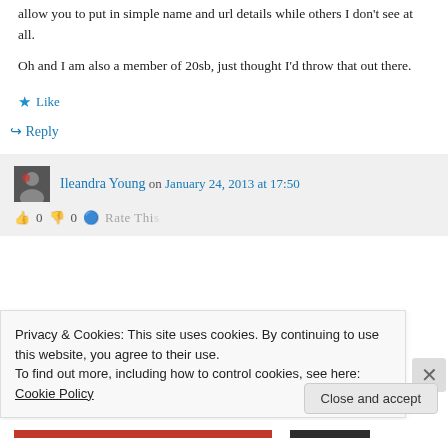allow you to put in simple name and url details while others I don't see at all.
Oh and I am also a member of 20sb, just thought I'd throw that out there.
★ Like
↪ Reply
Ileandra Young on January 24, 2013 at 17:50
👍 0 👎 0 🔵 Rate This
Privacy & Cookies: This site uses cookies. By continuing to use this website, you agree to their use.
To find out more, including how to control cookies, see here: Cookie Policy
Close and accept